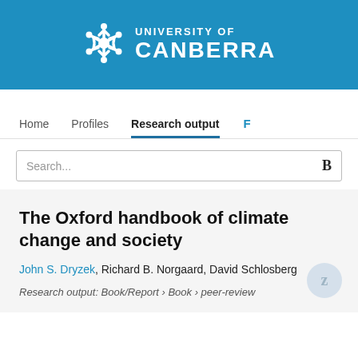[Figure (logo): University of Canberra logo with snowflake-style icon and white text on blue background]
Home   Profiles   Research output   F
Search...
The Oxford handbook of climate change and society
John S. Dryzek, Richard B. Norgaard, David Schlosberg
Research output: Book/Report › Book › peer-review